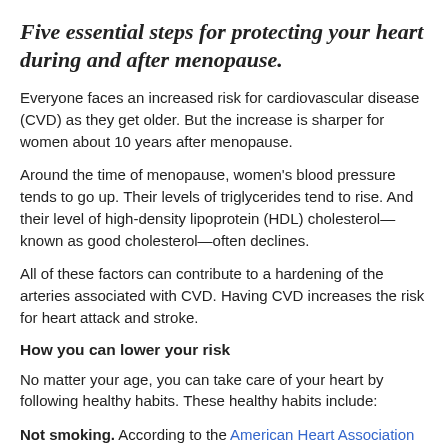Five essential steps for protecting your heart during and after menopause.
Everyone faces an increased risk for cardiovascular disease (CVD) as they get older. But the increase is sharper for women about 10 years after menopause.
Around the time of menopause, women's blood pressure tends to go up. Their levels of triglycerides tend to rise. And their level of high-density lipoprotein (HDL) cholesterol—known as good cholesterol—often declines.
All of these factors can contribute to a hardening of the arteries associated with CVD. Having CVD increases the risk for heart attack and stroke.
How you can lower your risk
No matter your age, you can take care of your heart by following healthy habits. These healthy habits include:
Not smoking. According to the American Heart Association (AHA), smoking contributes to low HDL...